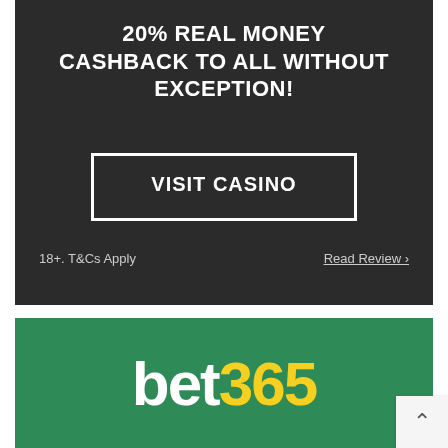20% REAL MONEY CASHBACK TO ALL WITHOUT EXCEPTION!
VISIT CASINO
18+. T&Cs Apply
Read Review ›
[Figure (logo): bet365 logo on green background, white 'bet' and yellow '365']